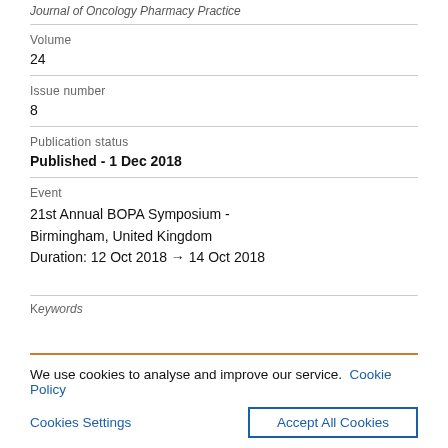Journal of Oncology Pharmacy Practice
Volume
24
Issue number
8
Publication status
Published - 1 Dec 2018
Event
21st Annual BOPA Symposium - Birmingham, United Kingdom
Duration: 12 Oct 2018 → 14 Oct 2018
Keywords
We use cookies to analyse and improve our service. Cookie Policy
Cookies Settings
Accept All Cookies